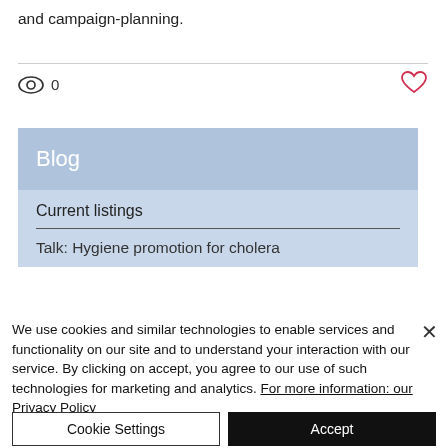and campaign-planning.
[Figure (other): Eye icon with count 0 and heart icon]
Blog
Current listings
Talk: Hygiene promotion for cholera
We use cookies and similar technologies to enable services and functionality on our site and to understand your interaction with our service. By clicking on accept, you agree to our use of such technologies for marketing and analytics. For more information: our Privacy Policy
Cookie Settings
Accept